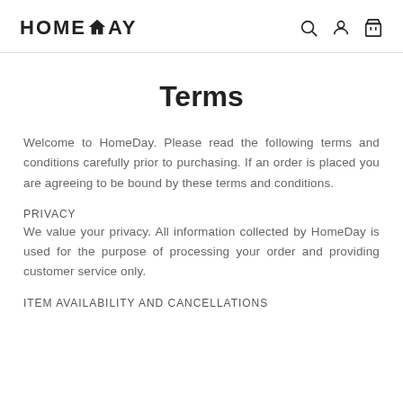HOMEDAY
Terms
Welcome to HomeDay. Please read the following terms and conditions carefully prior to purchasing. If an order is placed you are agreeing to be bound by these terms and conditions.
PRIVACY
We value your privacy. All information collected by HomeDay is used for the purpose of processing your order and providing customer service only.
ITEM AVAILABILITY AND CANCELLATIONS